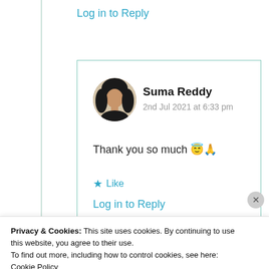Log in to Reply
[Figure (photo): Circular avatar photo of Suma Reddy, a woman with long dark hair]
Suma Reddy
2nd Jul 2021 at 6:33 pm
Thank you so much 😇🙏
★ Like
Log in to Reply
Privacy & Cookies: This site uses cookies. By continuing to use this website, you agree to their use.
To find out more, including how to control cookies, see here: Cookie Policy
Close and accept